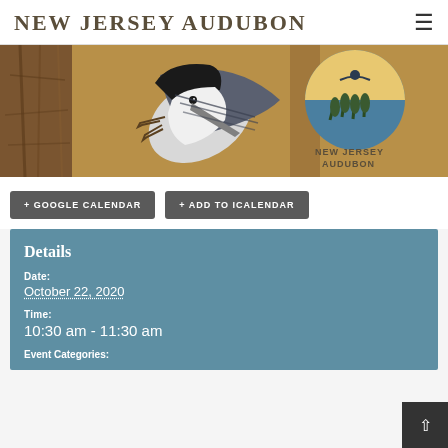NEW JERSEY AUDUBON
[Figure (photo): Close-up photo of a White-breasted Nuthatch bird climbing down a tree trunk, with the New Jersey Audubon circular logo visible in the upper right]
+ GOOGLE CALENDAR
+ ADD TO ICALENDAR
Details
Date:
October 22, 2020
Time:
10:30 am - 11:30 am
Event Categories: